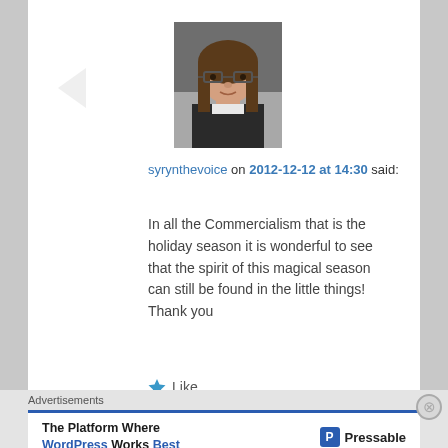[Figure (photo): Profile photo of a woman with long brown hair and glasses, wearing a dark top]
syrynthevoice on 2012-12-12 at 14:30 said:
In all the Commercialism that is the holiday season it is wonderful to see that the spirit of this magical season can still be found in the little things! Thank you
★ Like
Reply ↓
Advertisements
The Platform Where WordPress Works Best  Pressable